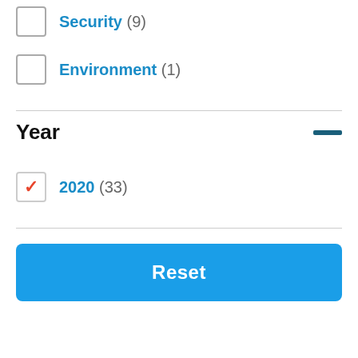Security (9)
Environment (1)
Year
2020 (33)
Reset